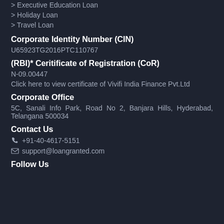> Executive Education Loan
> Holiday Loan
> Travel Loan
Corporate Identity Number (CIN)
U65923TG2016PTC110767
(RBI)* Ceritificate of Registration (CoR)
N-09.00447
Click here to view certificate of Vivifi India Finance Pvt.Ltd
Corporate Office
5C, Sanali Info Park, Road No 2, Banjara Hills, Hyderabad, Telangana 500034
Contact Us
+91-40-4617-5151
support@loangranted.com
Follow Us